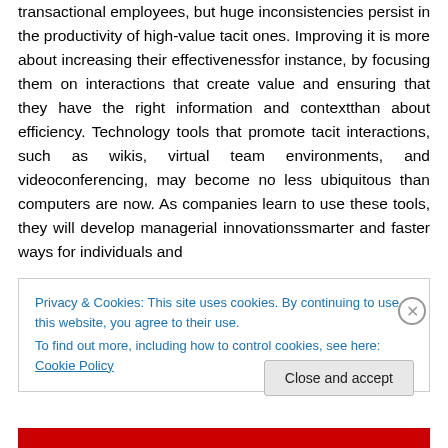transactional employees, but huge inconsistencies persist in the productivity of high-value tacit ones. Improving it is more about increasing their effectivenessfor instance, by focusing them on interactions that create value and ensuring that they have the right information and contextthan about efficiency. Technology tools that promote tacit interactions, such as wikis, virtual team environments, and videoconferencing, may become no less ubiquitous than computers are now. As companies learn to use these tools, they will develop managerial innovationssmarter and faster ways for individuals and
Privacy & Cookies: This site uses cookies. By continuing to use this website, you agree to their use.
To find out more, including how to control cookies, see here: Cookie Policy